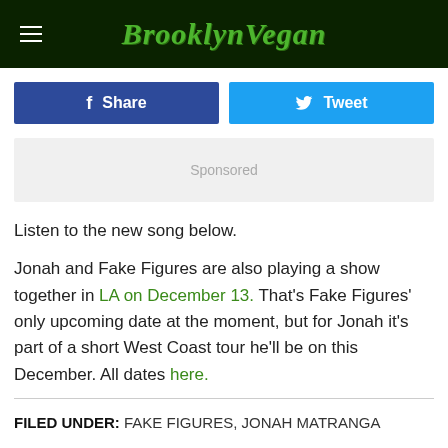BrooklynVegan
[Figure (screenshot): Facebook Share button and Twitter Tweet button side by side]
[Figure (other): Sponsored ad placeholder box]
Listen to the new song below.
Jonah and Fake Figures are also playing a show together in LA on December 13. That's Fake Figures' only upcoming date at the moment, but for Jonah it's part of a short West Coast tour he'll be on this December. All dates here.
FILED UNDER: FAKE FIGURES, JONAH MATRANGA
CATEGORIES: MUSIC NEWS, TOUR DATES